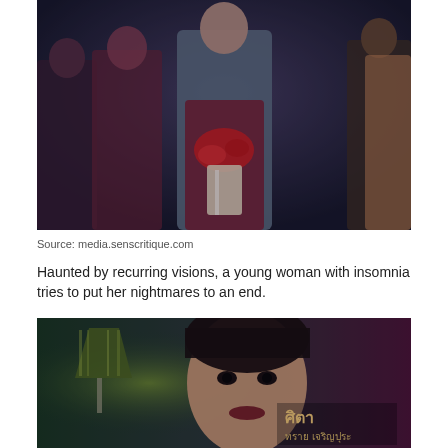[Figure (photo): A young woman in a dark indoor setting holding a bouquet of red roses wrapped in white ribbon, wearing a grey top and dark burgundy dress, surrounded by people in formal attire in a dimly lit room.]
Source: media.senscritique.com
Haunted by recurring visions, a young woman with insomnia tries to put her nightmares to an end.
[Figure (photo): Close-up of a woman with short hair, dark lipstick, facing forward against a split green and magenta background with a glowing lamp on the left. Thai text overlay reads: ศิตา / ทราย เจริญปุระ]